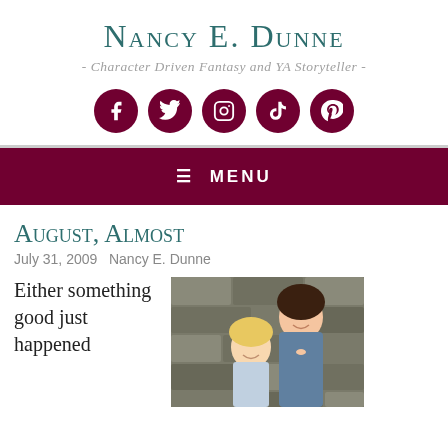Nancy E. Dunne
- Character Driven Fantasy and YA Storyteller -
[Figure (other): Five social media icon buttons (Facebook, Twitter, Instagram, TikTok, Pinterest) as dark red circles with white icons]
≡ MENU
August, Almost
July 31, 2009   Nancy E. Dunne
Either something good just happened
[Figure (photo): Photo of two people smiling in front of a stone wall — an adult woman with dark hair and a child with blonde hair]